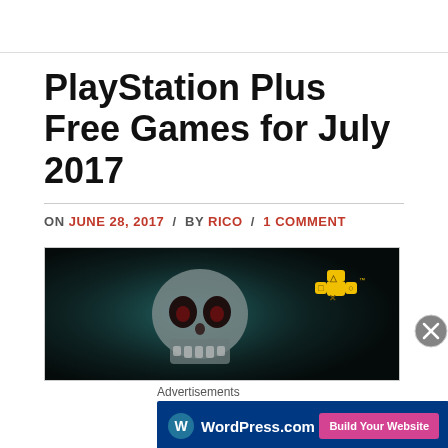PlayStation Plus Free Games for July 2017
ON JUNE 28, 2017 / BY RICO / 1 COMMENT
[Figure (photo): PlayStation Plus banner image showing a skull with dark background and gold PlayStation Plus logo]
Advertisements
[Figure (screenshot): WordPress.com advertisement banner with 'Build Your Website' button]